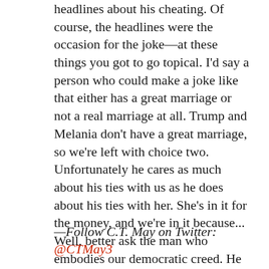headlines about his cheating. Of course, the headlines were the occasion for the joke—at these things you got to go topical. I'd say a person who could make a joke like that either has a great marriage or not a real marriage at all. Trump and Melania don't have a great marriage, so we're left with choice two. Unfortunately he cares as much about his ties with us as he does about his ties with her. She's in it for the money, and we're in it because... Well, better ask the man who embodies our democratic creed. He draws a hand across his brow, looks to the horizon, and says, "And just thinking to myself right now, we should just cancel the election and just give it to Trump, right? What are we even having it for? What are we having it for?" Well said, people's servant. Well said, Old Constitution.
—Follow C.T. May on Twitter: @CTMay3